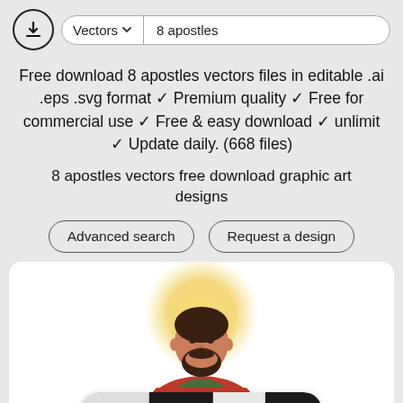Vectors ▾  8 apostles
Free download 8 apostles vectors files in editable .ai .eps .svg format ✓ Premium quality ✓ Free for commercial use ✓ Free & easy download ✓ unlimit ✓ Update daily. (668 files)
8 apostles vectors free download graphic art designs
Advanced search   Request a design
[Figure (illustration): Illustration of a bearded apostle with a golden halo glow behind his head, wearing red and green robes]
Page:  Stop  1  Go!
Advance Search